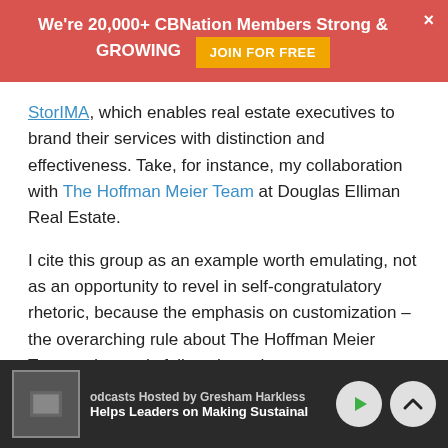We're 20,000+ CBNation Members Strong & GROWING  JOIN FOR FREE
StorIMA, which enables real estate executives to brand their services with distinction and effectiveness. Take, for instance, my collaboration with The Hoffman Meier Team at Douglas Elliman Real Estate.
I cite this group as an example worth emulating, not as an opportunity to revel in self-congratulatory rhetoric, because the emphasis on customization – the overarching rule about The Hoffman Meier Team – demands follow-through.
Which is to say, their professionals abide by the maxim to show and tell; to enliven their work, to show the properties
Podcasts Hosted by Gresham Harkless  Helps Leaders on Making Sustainable